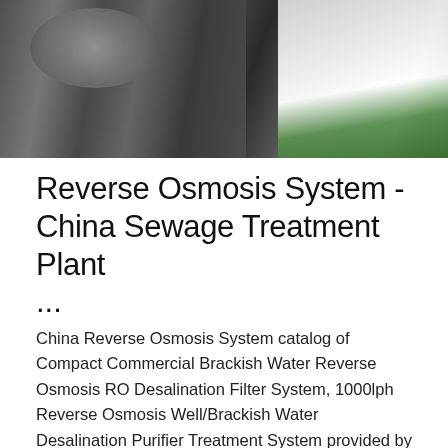[Figure (photo): Photo of reverse osmosis system machinery components including metal fittings and green background surface]
Reverse Osmosis System - China Sewage Treatment Plant
...
China Reverse Osmosis System catalog of Compact Commercial Brackish Water Reverse Osmosis RO Desalination Filter System, 1000lph Reverse Osmosis Well/Brackish Water Desalination Purifier Treatment System provided by China manufacturer - Qingdao EVU Environmental And Engineering Equipment Co., Ltd., page3.
Get Price